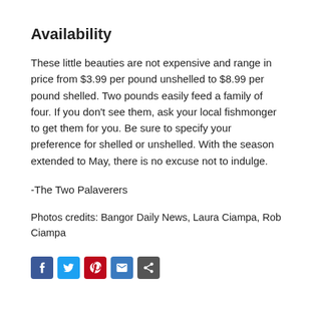Availability
These little beauties are not expensive and range in price from $3.99 per pound unshelled to $8.99 per pound shelled. Two pounds easily feed a family of four. If you don't see them, ask your local fishmonger to get them for you. Be sure to specify your preference for shelled or unshelled. With the season extended to May, there is no excuse not to indulge.
-The Two Palaverers
Photos credits: Bangor Daily News, Laura Ciampa, Rob Ciampa
[Figure (infographic): Social sharing icons: Facebook (blue), Twitter (blue), Pinterest (red), Email (blue), Share (grey)]